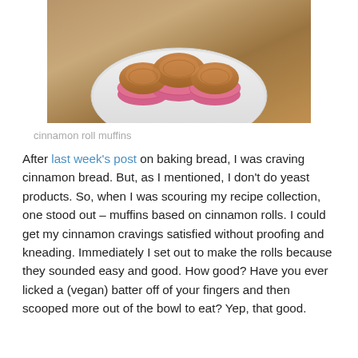[Figure (photo): Overhead view of cinnamon roll muffins in pink patterned cupcake liners on a white cake stand, placed on a wooden surface]
cinnamon roll muffins
After last week's post on baking bread, I was craving cinnamon bread. But, as I mentioned, I don't do yeast products. So, when I was scouring my recipe collection, one stood out – muffins based on cinnamon rolls. I could get my cinnamon cravings satisfied without proofing and kneading. Immediately I set out to make the rolls because they sounded easy and good. How good? Have you ever licked a (vegan) batter off of your fingers and then scooped more out of the bowl to eat? Yep, that good.